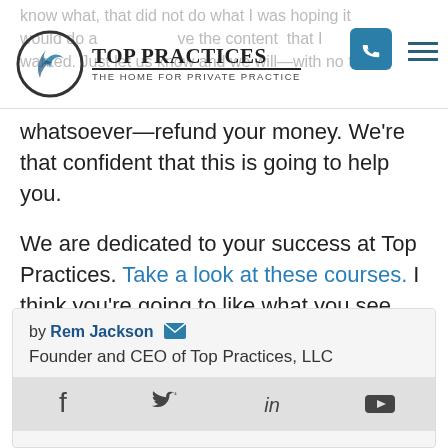Top Practices – The Home for Private Practice
whatsoever—refund your money. We're that confident that this is going to help you.
We are dedicated to your success at Top Practices. Take a look at these courses. I think you're going to like what you see.
by Rem Jackson
Founder and CEO of Top Practices, LLC